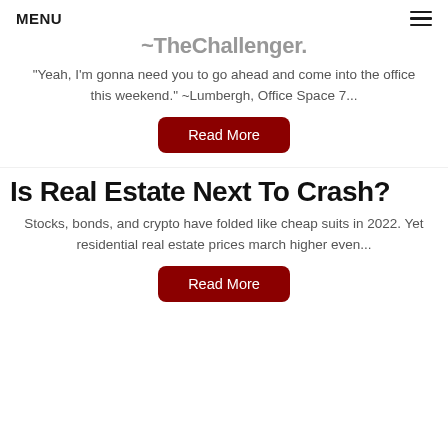MENU
TheChallenger.
"Yeah, I'm gonna need you to go ahead and come into the office this weekend." ~Lumbergh, Office Space 7...
Read More
Is Real Estate Next To Crash?
Stocks, bonds, and crypto have folded like cheap suits in 2022. Yet residential real estate prices march higher even...
Read More